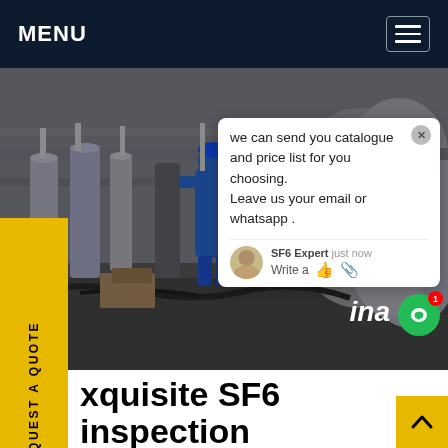MENU
[Figure (photo): Industrial SF6 gas inspection site with worker in blue protective suit and gas cylinders/equipment]
we can send you catalogue and price list for you choosing. Leave us your email or whatsapp .
xquisite SF6 inspection sposal for sale
Overcoming SF6 Phantom Emissions. In any business it is important to take an accurate inventory of assets, and to be sure that the inventory statistics